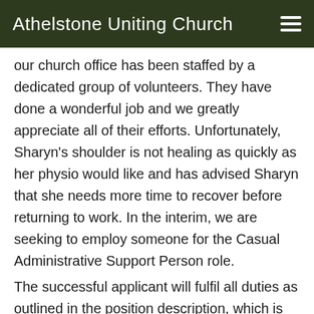Athelstone Uniting Church
our church office has been staffed by a dedicated group of volunteers. They have done a wonderful job and we greatly appreciate all of their efforts. Unfortunately, Sharyn's shoulder is not healing as quickly as her physio would like and has advised Sharyn that she needs more time to recover before returning to work. In the interim, we are seeking to employ someone for the Casual Administrative Support Person role.
The successful applicant will fulfil all duties as outlined in the position description, which is available from the Chairperson (Victoria Pederick) upon request. This person will report directly to Church Council. Job sharing will be considered.
If you are interested, we invite you to apply by providing a short CV, which includes details of your skills and relevant experience, in addition to a reference letter outlining...